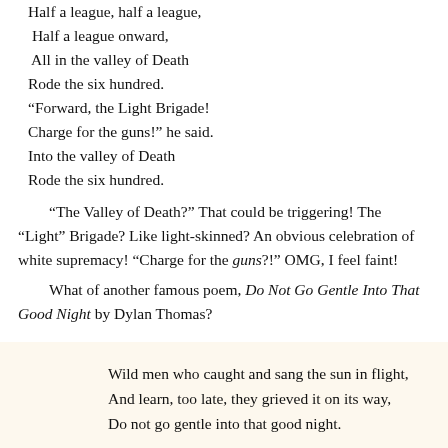Half a league, half a league,
Half a league onward,
All in the valley of Death
Rode the six hundred.
"Forward, the Light Brigade!
Charge for the guns!" he said.
Into the valley of Death
Rode the six hundred.
"The Valley of Death?" That could be triggering! The "Light" Brigade? Like light-skinned? An obvious celebration of white supremacy! "Charge for the guns?!" OMG, I feel faint!
What of another famous poem, Do Not Go Gentle Into That Good Night by Dylan Thomas?
Wild men who caught and sang the sun in flight,
And learn, too late, they grieved it on its way,
Do not go gentle into that good night.
Grave men, near death, who see with blinding sight
Blind eyes could blaze like meteors and be gay,
Rage, rage against the dying of the light.